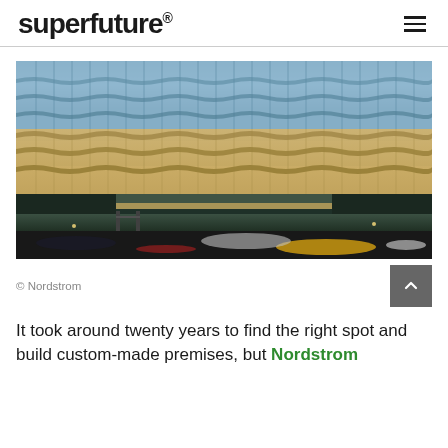superfuture®
[Figure (photo): Exterior photograph of a modern glass-facade building (Nordstrom store) at dusk, featuring wavy undulating glass curtain wall panels lit from within in warm amber tones, with street-level traffic and cars visible in the foreground.]
© Nordstrom
It took around twenty years to find the right spot and build custom-made premises, but Nordstrom